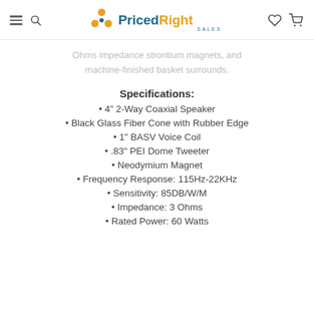PricedRight SALES
Ohms impedance strontium magnets, and machine-finished basket surrounds.
Specifications:
4" 2-Way Coaxial Speaker
Black Glass Fiber Cone with Rubber Edge
1" BASV Voice Coil
.83" PEI Dome Tweeter
Neodymium Magnet
Frequency Response: 115Hz-22KHz
Sensitivity: 85DB/W/M
Impedance: 3 Ohms
Rated Power: 60 Watts